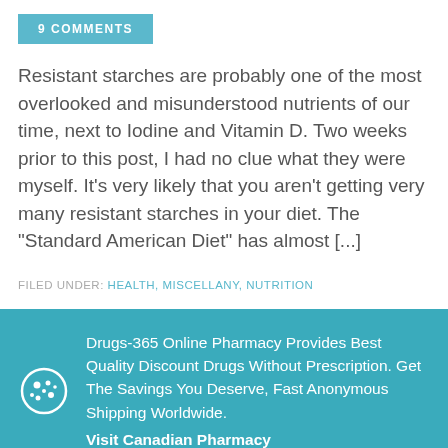9 COMMENTS
Resistant starches are probably one of the most overlooked and misunderstood nutrients of our time, next to Iodine and Vitamin D. Two weeks prior to this post, I had no clue what they were myself. It’s very likely that you aren’t getting very many resistant starches in your diet. The “Standard American Diet” has almost [...]
FILED UNDER: HEALTH, MISCELLANY, NUTRITION
[Figure (logo): Cookie/biscuit icon with dots, white outline on teal background]
Drugs-365 Online Pharmacy Provides Best Quality Discount Drugs Without Prescription. Get The Savings You Deserve, Fast Anonymous Shipping Worldwide. Visit Canadian Pharmacy